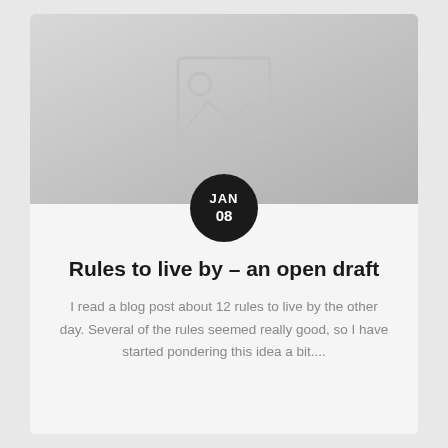[Figure (photo): Placeholder image with a landscape/image icon in grey gradient background]
Rules to live by – an open draft
I read a blog post about 12 rules to live by the other day. Several of the rules seemed really good, so I have started pondering this idea a bit....